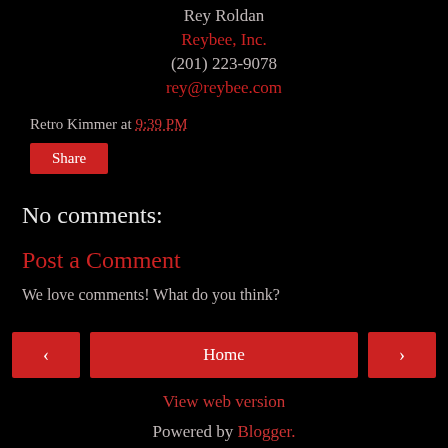Rey Roldan
Reybee, Inc.
(201) 223-9078
rey@reybee.com
Retro Kimmer at 9:39 PM
Share
No comments:
Post a Comment
We love comments! What do you think?
‹
Home
›
View web version
Powered by Blogger.